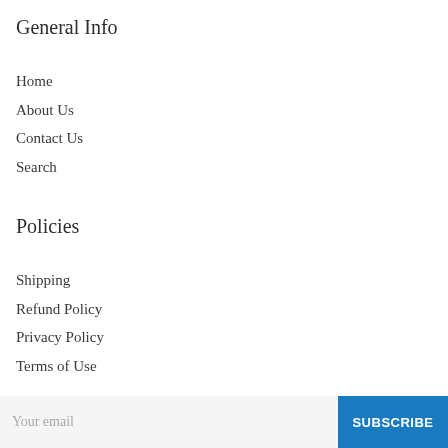General Info
Home
About Us
Contact Us
Search
Policies
Shipping
Refund Policy
Privacy Policy
Terms of Use
Get The Best Deal!
Subscribe to be notified about future deals and discounts.
Your email  SUBSCRIBE